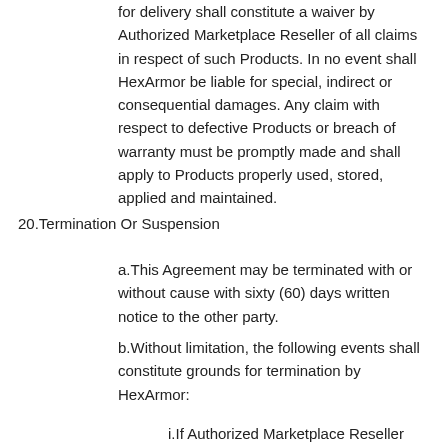for delivery shall constitute a waiver by Authorized Marketplace Reseller of all claims in respect of such Products. In no event shall HexArmor be liable for special, indirect or consequential damages. Any claim with respect to defective Products or breach of warranty must be promptly made and shall apply to Products properly used, stored, applied and maintained.
20. Termination Or Suspension
a. This Agreement may be terminated with or without cause with sixty (60) days written notice to the other party.
b. Without limitation, the following events shall constitute grounds for termination by HexArmor:
i. If Authorized Marketplace Reseller